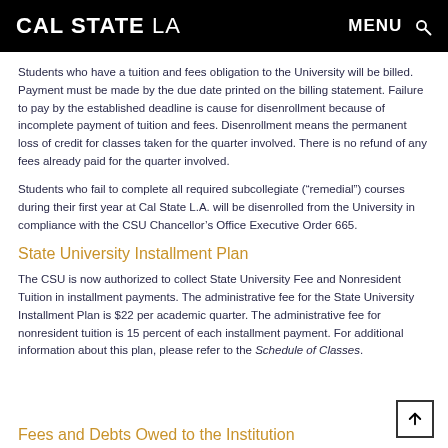CAL STATE LA   MENU
Students who have a tuition and fees obligation to the University will be billed. Payment must be made by the due date printed on the billing statement. Failure to pay by the established deadline is cause for disenrollment because of incomplete payment of tuition and fees. Disenrollment means the permanent loss of credit for classes taken for the quarter involved. There is no refund of any fees already paid for the quarter involved.
Students who fail to complete all required subcollegiate (“remedial”) courses during their first year at Cal State L.A. will be disenrolled from the University in compliance with the CSU Chancellor’s Office Executive Order 665.
State University Installment Plan
The CSU is now authorized to collect State University Fee and Nonresident Tuition in installment payments. The administrative fee for the State University Installment Plan is $22 per academic quarter. The administrative fee for nonresident tuition is 15 percent of each installment payment. For additional information about this plan, please refer to the Schedule of Classes.
Fees and Debts Owed to the Institution